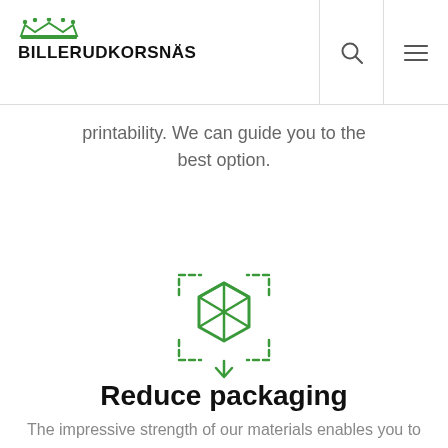BILLERUDKORSNÄS
printability. We can guide you to the best option.
[Figure (illustration): Green line-art icon of a box/package with dashed corner brackets and a downward arrow, suggesting packaging optimization or reduction.]
Reduce packaging
The impressive strength of our materials enables you to use less packaging – without sacrificing performance. Ask for an estimate of your savings.